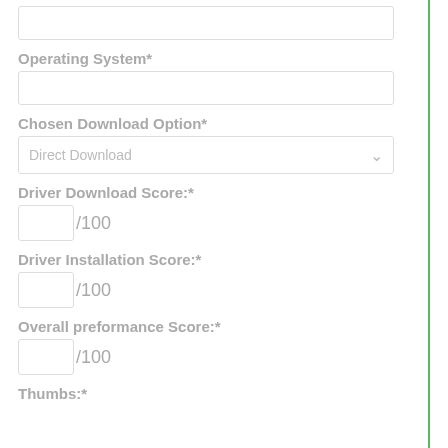(empty input field at top)
Operating System*
(empty input field)
Chosen Download Option*
Direct Download (dropdown)
Driver Download Score:*
/100
Driver Installation Score:*
/100
Overall preformance Score:*
/100
Thumbs:*